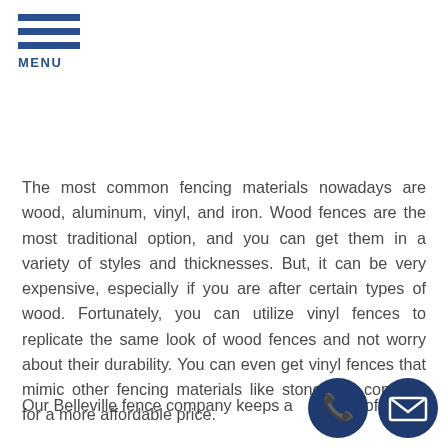MENU
The most common fencing materials nowadays are wood, aluminum, vinyl, and iron. Wood fences are the most traditional option, and you can get them in a variety of styles and thicknesses. But, it can be very expensive, especially if you are after certain types of wood. Fortunately, you can utilize vinyl fences to replicate the same look of wood fences and not worry about their durability. You can even get vinyl fences that mimic other fencing materials like stone and concrete for a more affordable price.
Our Belleville fence company keeps a stock of
[Figure (illustration): Blue circular phone icon and blue circular email/envelope icon in bottom right corner]